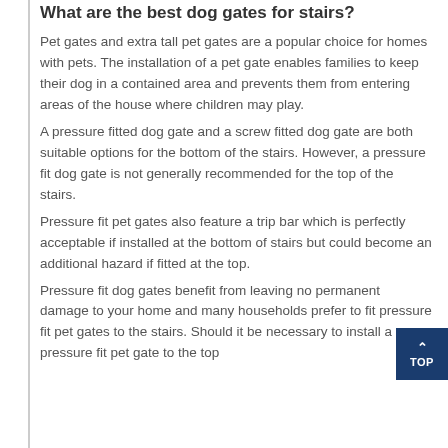What are the best dog gates for stairs?
Pet gates and extra tall pet gates are a popular choice for homes with pets. The installation of a pet gate enables families to keep their dog in a contained area and prevents them from entering areas of the house where children may play.
A pressure fitted dog gate and a screw fitted dog gate are both suitable options for the bottom of the stairs. However, a pressure fit dog gate is not generally recommended for the top of the stairs.
Pressure fit pet gates also feature a trip bar which is perfectly acceptable if installed at the bottom of stairs but could become an additional hazard if fitted at the top.
Pressure fit dog gates benefit from leaving no permanent damage to your home and many households prefer to fit pressure fit pet gates to the stairs. Should it be necessary to install a pressure fit pet gate to the top...